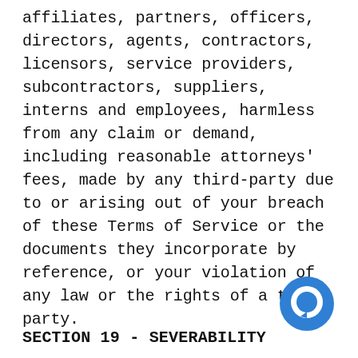affiliates, partners, officers, directors, agents, contractors, licensors, service providers, subcontractors, suppliers, interns and employees, harmless from any claim or demand, including reasonable attorneys' fees, made by any third-party due to or arising out of your breach of these Terms of Service or the documents they incorporate by reference, or your violation of any law or the rights of a third-party.
[Figure (illustration): Blue circle chat/message icon in the bottom-right area]
SECTION 19 - SEVERABILITY